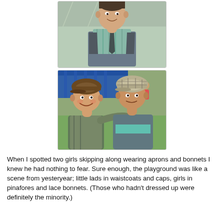[Figure (photo): A boy wearing a plaid shirt, tie, and vest, smiling at the camera. Parking lot visible in background.]
[Figure (photo): Two boys wearing newsboy caps with arms around each other, smiling. Other children visible in the background on what appears to be a playground.]
When I spotted two girls skipping along wearing aprons and bonnets I knew he had nothing to fear. Sure enough, the playground was like a scene from yesteryear; little lads in waistcoats and caps, girls in pinafores and lace bonnets. (Those who hadn't dressed up were definitely the minority.)